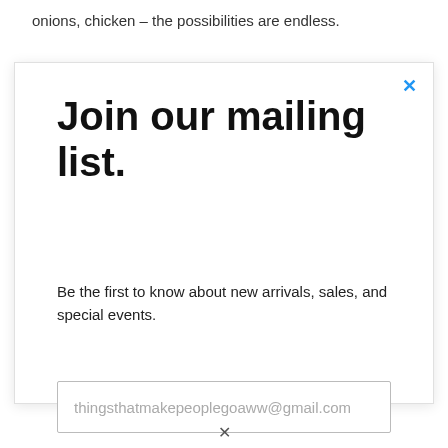onions, chicken – the possibilities are endless.
Join our mailing list.
Be the first to know about new arrivals, sales, and special events.
thingsthatmakepeoplegoaww@gmail.com
Subscribe